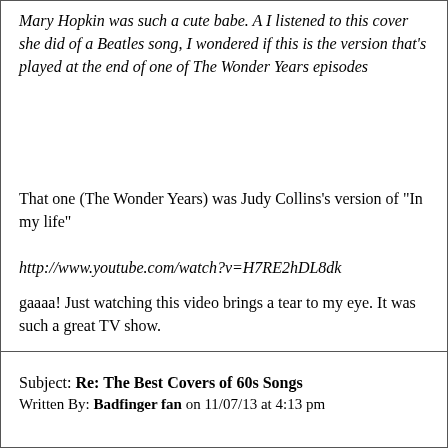Mary Hopkin was such a cute babe. A I listened to this cover she did of a Beatles song, I wondered if this is the version that's played at the end of one of The Wonder Years episodes
That one (The Wonder Years) was Judy Collins's version of "In my life"
http://www.youtube.com/watch?v=H7RE2hDL8dk
gaaaa! Just watching this video brings a tear to my eye. It was such a great TV show.
Subject: Re: The Best Covers of 60s Songs
Written By: Badfinger fan on 11/07/13 at 4:13 pm